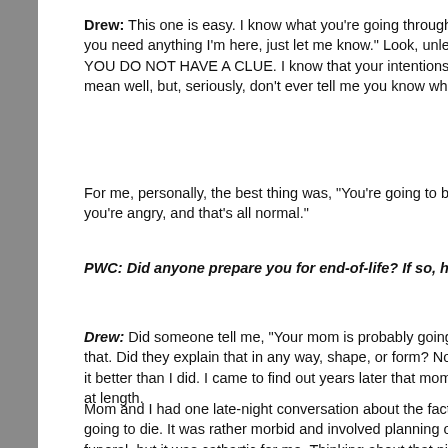Drew: This one is easy. "I know what you're going through, if you need anything I'm here, just let me know." Look, unless you've been through it, YOU DO NOT HAVE A CLUE. I know that your intentions mean well, but, seriously, don't ever tell me you know wha
For me, personally, the best thing was, "You're going to be angry, and that's all normal."
PWC: Did anyone prepare you for end-of-life? If so, ho
Drew: Did someone tell me, "Your mom is probably going to die"? Yes, that. Did they explain that in any way, shape, or form? No, they handled it better than I did. I came to find out years later that mom had discussed it at length.
Mom and I had one late-night conversation about the fact that she was going to die. It was rather morbid and involved planning of her own funeral, but it was cathartic for me. Thinking about that night chokes me up, as it was the last mother/son conversation that we had